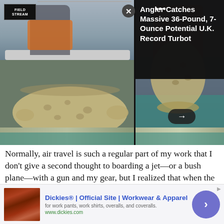[Figure (photo): Photo collage showing an angler holding a large turbot fish on a boat, two photos side by side with more images below]
Angler Catches Massive 36-Pound, 7-Ounce Potential U.K. Record Turbot
Normally, air travel is such a regular part of my work that I don't give a second thought to boarding a jet—or a bush plane—with a gun and my gear, but I realized that when the day came to fly to Dallas that I hadn't entered Bozeman's airport in over a year.
[Figure (photo): Advertisement image showing leather seat or furniture]
Dickies® | Official Site | Workwear & Apparel
for work pants, work shirts, overalls, and coveralls.
www.dickies.com